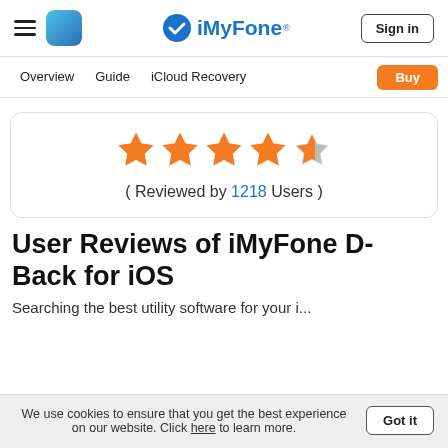iMyFone — Sign in
Overview | Guide | iCloud Recovery | Buy
[Figure (other): Star rating display showing 4 out of 5 orange stars, with text: ( Reviewed by 1218 Users )]
User Reviews of iMyFone D-Back for iOS
Searching…
We use cookies to ensure that you get the best experience on our website. Click here to learn more. Got it